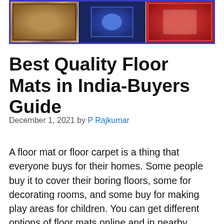[Figure (photo): Three floor mat/rug images shown side by side in a blue-bordered panel: a brown/beige patterned rug on the left, a dark blue patterned rug in the center, and a red bordered rug on the right.]
Best Quality Floor Mats in India-Buyers Guide
December 1, 2021 by P Rajkumar
A floor mat or floor carpet is a thing that everyone buys for their homes. Some people buy it to cover their boring floors, some for decorating rooms, and some buy for making play areas for children. You can get different options of floor mats online and in nearby stores. But, in this article, we also have compiled a list of top brands selling floor mats that you can check. Also, check the